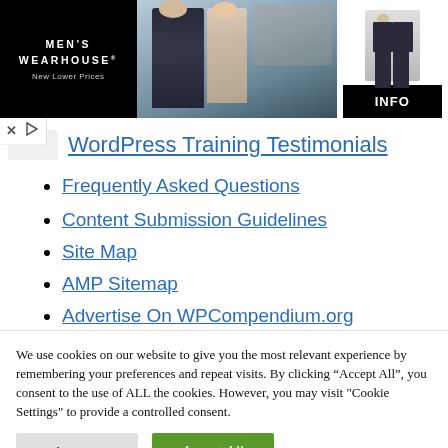[Figure (illustration): Men's Wearhouse advertisement banner with black background on left showing brand name and 'New Lower Prices' text, center showing a couple in formal wear, right showing a man in suit with an INFO button]
WordPress Training Testimonials
Frequently Asked Questions
Content Submission Guidelines
Site Map
AMP Sitemap
Advertise On WPCompendium.org
We use cookies on our website to give you the most relevant experience by remembering your preferences and repeat visits. By clicking “Accept All”, you consent to the use of ALL the cookies. However, you may visit "Cookie Settings" to provide a controlled consent.
Cookie Settings | Accept All